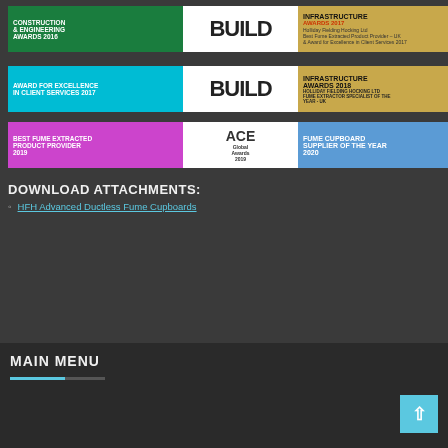[Figure (other): Row 1: Construction & Engineering Awards 2016 (green) | BUILD logo (white) | Infrastructure Awards 2017 with company info (gold) | BUILD logo (white)]
[Figure (other): Row 2: Award for Excellence in Client Services 2017 (cyan) | BUILD logo (white) | Infrastructure Awards 2018 HOLLIDAY FIELDING HOCKING LTD - Fume Extractor Specialist of the Year - UK (gold) | BUILD logo (white)]
[Figure (other): Row 3: Best Fume Extracted Product Provider 2019 (magenta) | ACE Global Awards 2019 logo (white) | Fume Cupboard Supplier of the Year 2020 (blue) | Innovation & Excellence logo (white)]
DOWNLOAD ATTACHMENTS:
HFH Advanced Ductless Fume Cupboards
MAIN MENU